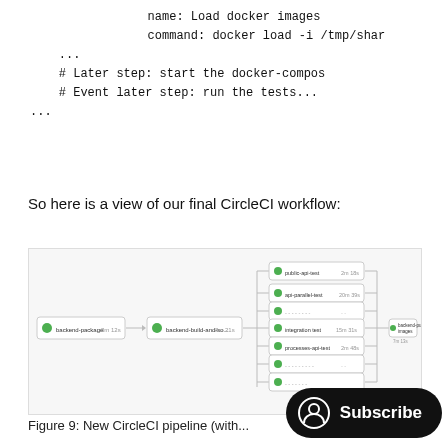name: Load docker images
        command: docker load -i /tmp/shar
    ...
    # Later step: start the docker-compos
    # Event later step: run the tests...
...
So here is a view of our final CircleCI workflow:
[Figure (screenshot): Screenshot of CircleCI workflow pipeline showing jobs: backend-package, backend-build-and-so..., then parallel jobs including public-api-test, api-parallel-test, integration-test, processes-api-test, and more, then backend-push-images.]
Figure 9: New CircleCI pipeline (with...